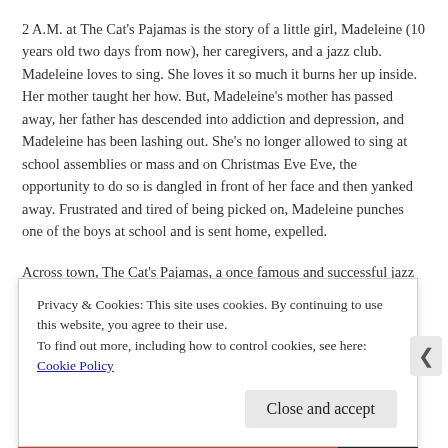2 A.M. at The Cat's Pajamas is the story of a little girl, Madeleine (10 years old two days from now), her caregivers, and a jazz club. Madeleine loves to sing. She loves it so much it burns her up inside. Her mother taught her how. But, Madeleine's mother has passed away, her father has descended into addiction and depression, and Madeleine has been lashing out. She's no longer allowed to sing at school assemblies or mass and on Christmas Eve Eve, the opportunity to do so is dangled in front of her face and then yanked away. Frustrated and tired of being picked on, Madeleine punches one of the boys at school and is sent home, expelled.
Across town, The Cat's Pajamas, a once famous and successful jazz club is dilapidated and has been written up by the city. One more
Privacy & Cookies: This site uses cookies. By continuing to use this website, you agree to their use.
To find out more, including how to control cookies, see here: Cookie Policy
Close and accept